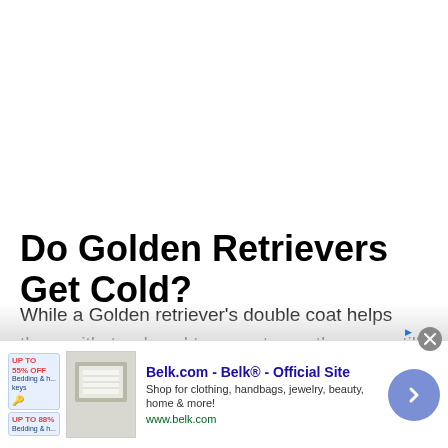Do Golden Retrievers Get Cold?
While a Golden retriever's double coat helps them withstand cool temperatures, they can still get cold if it's an especially chilly day out. If they are outside in
[Figure (screenshot): Advertisement banner for Belk.com showing product image, title 'Belk.com - Belk® - Official Site', description 'Shop for clothing, handbags, jewelry, beauty, home & more!', URL www.belk.com, and a navigation arrow button]